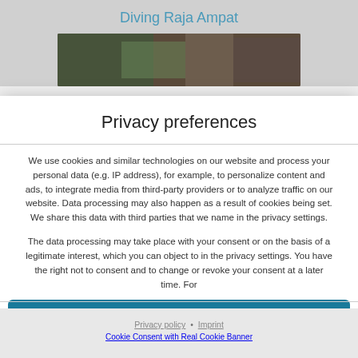[Figure (screenshot): Blurred background showing a website page with title 'Diving Raja Ampat' and a partial underwater photo]
Privacy preferences
We use cookies and similar technologies on our website and process your personal data (e.g. IP address), for example, to personalize content and ads, to integrate media from third-party providers or to analyze traffic on our website. Data processing may also happen as a result of cookies being set. We share this data with third parties that we name in the privacy settings.
The data processing may take place with your consent or on the basis of a legitimate interest, which you can object to in the privacy settings. You have the right not to consent and to change or revoke your consent at a later time. For
Accept all
Continue without consent
Set privacy settings individually
Privacy policy • Imprint
Cookie Consent with Real Cookie Banner